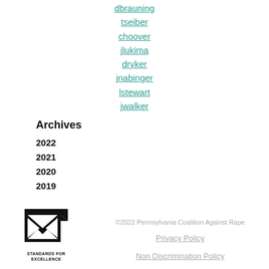dbrauning
tseiber
choover
jlukima
dryker
jnabinger
lstewart
jwalker
Archives
2022
2021
2020
2019
[Figure (logo): Standards for Excellence logo — black square with checkmark/arrow graphic]
©2022 Pennsylvania Coalition Against Rape
Privacy Policy
Non Discrimination Policy